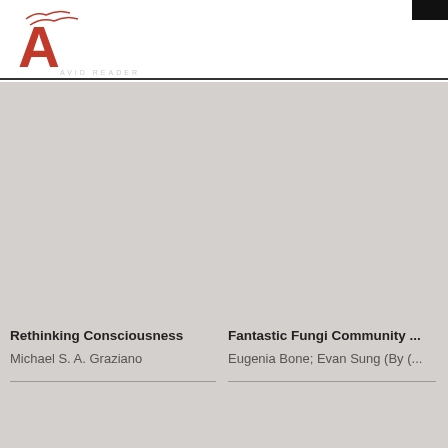[Figure (logo): Avid Reader logo with stylized red letter A and flowing red lines above, with 'AVID READER' text in light gray letters]
[Figure (photo): Book cover for Rethinking Consciousness on light gray background]
Rethinking Consciousness
Michael S. A. Graziano
[Figure (photo): Book cover for Fantastic Fungi Community on light gray background]
Fantastic Fungi Community ...
Eugenia Bone; Evan Sung (By (...